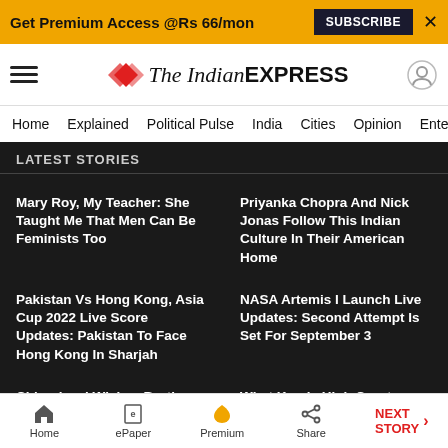Get Premium Access @Rs 66/mon  SUBSCRIBE  X
[Figure (logo): The Indian Express logo with hamburger menu and user icon]
Home  Explained  Political Pulse  India  Cities  Opinion  Entertainment
LATEST STORIES
Mary Roy, My Teacher: She Taught Me That Men Can Be Feminists Too
Priyanka Chopra And Nick Jonas Follow This Indian Culture In Their American Home
Pakistan Vs Hong Kong, Asia Cup 2022 Live Score Updates: Pakistan To Face Hong Kong In Sharjah
NASA Artemis I Launch Live Updates: Second Attempt Is Set For September 3
Chiranjeevi Wishes Brother Pawan Kalyan On 51st Birthday: 'He Always Worked Honestly And Sincerely'
What Kerala High Court Needs To Take On Board: Marriage And Its Place In Society Are Not Unchanging
Home  ePaper  Premium  Share  NEXT STORY